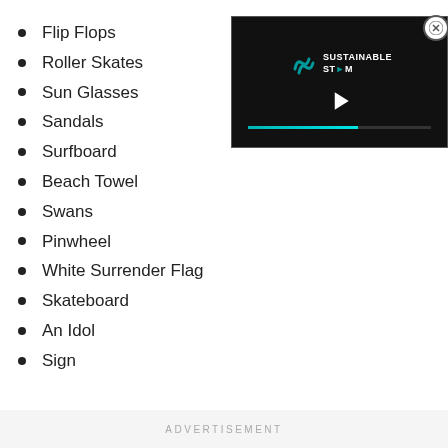Flip Flops
Roller Skates
Sun Glasses
Sandals
Surfboard
Beach Towel
Swans
Pinwheel
White Surrender Flag
Skateboard
An Idol
Sign
[Figure (screenshot): Video player widget with dark background showing Sustainable Steam logo and play button with teal progress bar]
ADVERTISEMENT